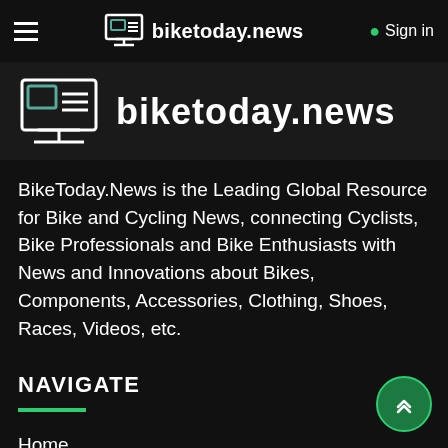biketoday.news  Sign in
[Figure (logo): biketoday.news logo — laptop/monitor icon with horizontal lines, large text 'biketoday.news']
BikeToday.News is the Leading Global Resource for Bike and Cycling News, connecting Cyclists, Bike Professionals and Bike Enthusiasts with News and Innovations about Bikes, Components, Accessories, Clothing, Shoes, Races, Videos, etc.
NAVIGATE
Home
Fun Stuff